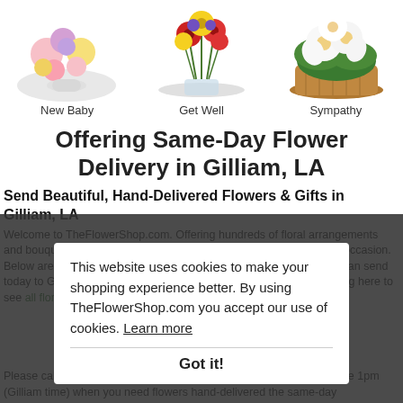[Figure (photo): Three flower arrangement photos side by side: New Baby (colorful mixed bouquet), Get Well (red and yellow flowers in vase), Sympathy (white lilies in basket)]
New Baby    Get Well    Sympathy
Offering Same-Day Flower Delivery in Gilliam, LA
Send Beautiful, Hand-Delivered Flowers & Gifts in Gilliam, LA
Welcome to TheFlowerShop.com. Offering hundreds of floral arrangements and bouquets with same-day delivery throughout Gilliam, LA for any occasion. Below are just a few popular flower arrangements and bouquets we can send today to Gilliam and we invite you to see all that is available by clicking here to see all floral items.
This website uses cookies to make your shopping experience better. By using TheFlowerShop.com you accept our use of cookies. Learn more
Got it!
Please call us toll free at 1-877-729-2680 or simply order online before 1pm (Gilliam time) when you need flowers hand-delivered the same-day